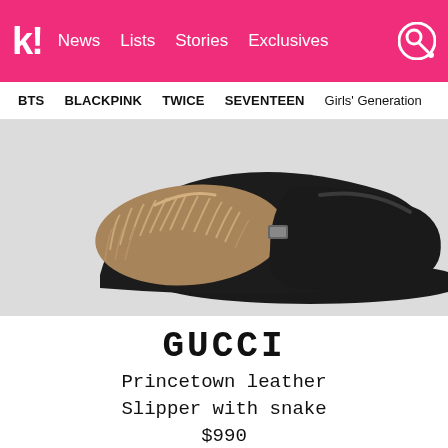k! News Lists Stories Exclusives
BTS BLACKPINK TWICE SEVENTEEN Girls' Generation
[Figure (photo): Close-up photo of a black Gucci Princetown leather slipper with fur/shearling lining on a light gray background]
GUCCI Princetown leather Slipper with snake $990
He also admires V's fashion sense in particular.